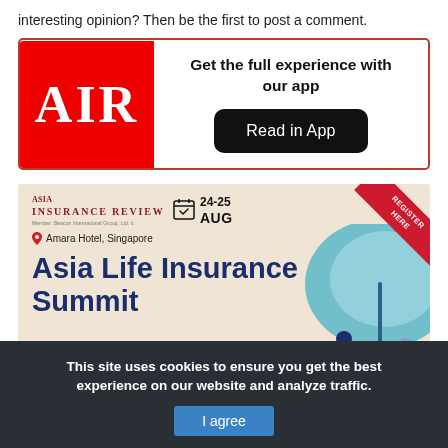interesting opinion? Then be the first to post a comment.
[Figure (infographic): AIR app promotion banner with red AIR logo on left and 'Get the full experience with our app' text plus 'Read in App' black button on right, surrounded by red border]
[Figure (infographic): Asia Insurance Review – Asia Life Insurance Summit banner. 24-25 Aug at Amara Hotel, Singapore. 'Register Here' red corner ribbon. Large teal umbrella illustration in background.]
This site uses cookies to ensure you get the best experience on our website and analyze traffic.
I agree